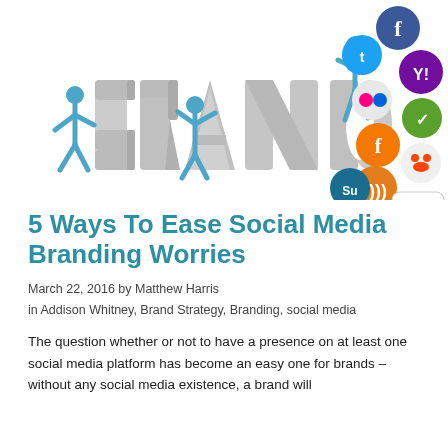[Figure (illustration): Illustrated header image showing 3D blue stick figures pushing and holding up large letters spelling 'BRAND', with a stack of social media platform icons (Facebook, Twitter, Yahoo, Flickr, Friendster, Reddit, YouTube, StumbleUpon, and others) piled on the right side.]
5 Ways To Ease Social Media Branding Worries
March 22, 2016 by Matthew Harris
in Addison Whitney, Brand Strategy, Branding, social media
The question whether or not to have a presence on at least one social media platform has become an easy one for brands – without any social media existence, a brand will